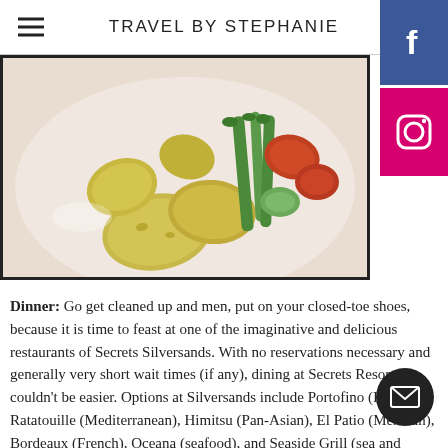TRAVEL BY STEPHANIE
[Figure (photo): A plate of roasted baby potatoes and grilled vegetables including asparagus, tomatoes, and zucchini on a white plate.]
Dinner: Go get cleaned up and men, put on your closed-toe shoes, because it is time to feast at one of the imaginative and delicious restaurants of Secrets Silversands. With no reservations necessary and generally very short wait times (if any), dining at Secrets Resorts couldn't be easier. Options at Silversands include Portofino (Italian), Ratatouille (Mediterranean), Himitsu (Pan-Asian), El Patio (Mexican), Bordeaux (French), Oceana (seafood), and Seaside Grill (sea and grilled favorites) so there is truly a cuisine for everyone. We only had three nights at Secrets